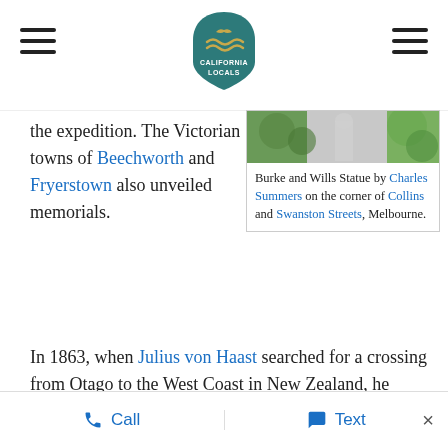California Locals (logo with hamburger menus)
the expedition. The Victorian towns of Beechworth and Fryerstown also unveiled memorials.
[Figure (photo): Photo of a statue partially visible at top of sidebar box]
Burke and Wills Statue by Charles Summers on the corner of Collins and Swanston Streets, Melbourne.
In 1863, when Julius von Haast searched for a crossing from Otago to the West Coast in New Zealand, he named two rivers flowing into the Haast River after Burke and Wills.[53]
On 21 April 1865, the anniversary of the return to Cooper's Creek, a monument by Charles Summers
Call   Text   ×